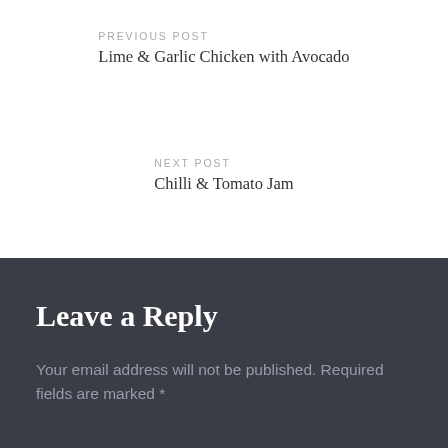PREVIOUS POST
Lime & Garlic Chicken with Avocado
NEXT POST
Chilli & Tomato Jam
Leave a Reply
Your email address will not be published. Required fields are marked *